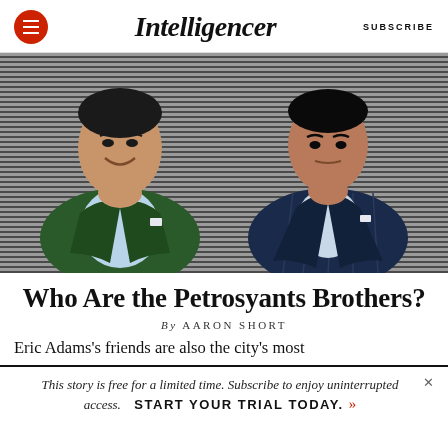Intelligencer | SUBSCRIBE
[Figure (photo): Two men posing for a photo. Left man in green blazer smiling, right man in navy pinstripe suit. Background has horizontal line texture pattern.]
Who Are the Petrosyants Brothers?
By AARON SHORT
Eric Adams's friends are also the city's most
This story is free for a limited time. Subscribe to enjoy uninterrupted access. START YOUR TRIAL TODAY.